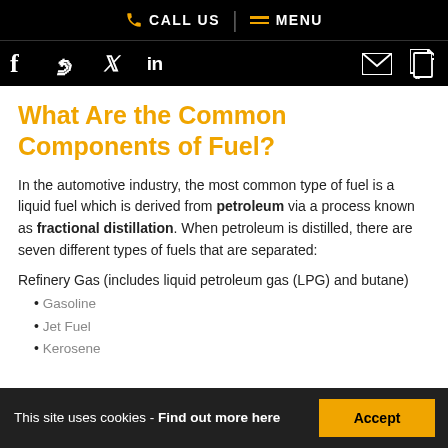CALL US | MENU
f | in (social icons) | email | document
What Are the Common Components of Fuel?
In the automotive industry, the most common type of fuel is a liquid fuel which is derived from petroleum via a process known as fractional distillation. When petroleum is distilled, there are seven different types of fuels that are separated:
Refinery Gas (includes liquid petroleum gas (LPG) and butane)
Gasoline
Jet Fuel
Kerosene
This site uses cookies - Find out more here
Accept